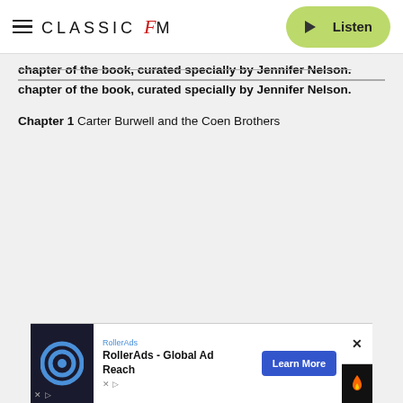Classic FM | Listen
Listen to the suggested playlists included with each chapter of the book, curated specially by Jennifer Nelson.
Chapter 1 Carter Burwell and the Coen Brothers
[Figure (other): RollerAds advertisement banner at the bottom of the page with logo, text 'RollerAds - Global Ad Reach', and a 'Learn More' button]